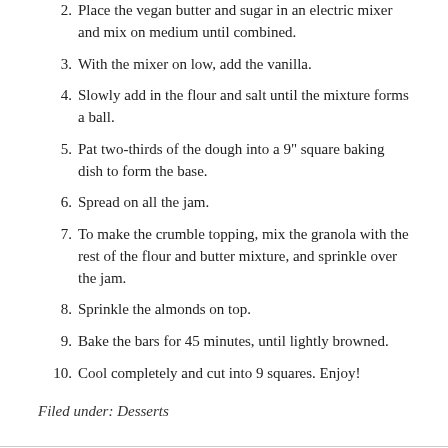2. Place the vegan butter and sugar in an electric mixer and mix on medium until combined.
3. With the mixer on low, add the vanilla.
4. Slowly add in the flour and salt until the mixture forms a ball.
5. Pat two-thirds of the dough into a 9" square baking dish to form the base.
6. Spread on all the jam.
7. To make the crumble topping, mix the granola with the rest of the flour and butter mixture, and sprinkle over the jam.
8. Sprinkle the almonds on top.
9. Bake the bars for 45 minutes, until lightly browned.
10. Cool completely and cut into 9 squares. Enjoy!
Filed under: Desserts